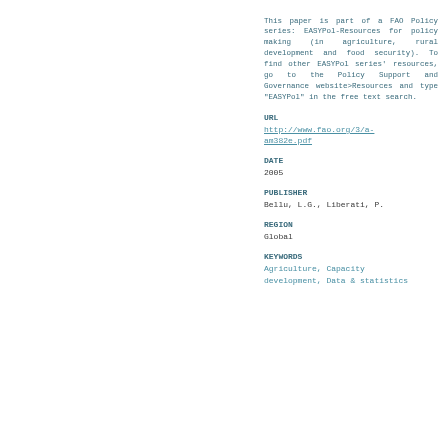This paper is part of a FAO Policy series: EASYPol-Resources for policy making (in agriculture, rural development and food security). To find other EASYPol series' resources, go to the Policy Support and Governance website>Resources and type "EASYPol" in the free text search.
URL
http://www.fao.org/3/a-am382e.pdf
DATE
2005
PUBLISHER
Bellu, L.G., Liberati, P.
REGION
Global
KEYWORDS
Agriculture, Capacity development, Data & statistics